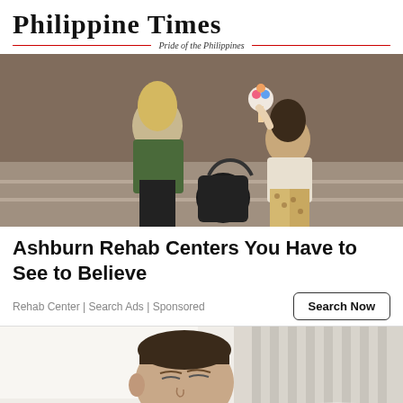[Figure (logo): Philippine Times logo with red line decoration and italic subtitle 'Pride of the Philippines']
[Figure (photo): Two young women sitting on steps outdoors against a graffiti wall; one in green jacket, one in leopard print pants holding a flower.]
Ashburn Rehab Centers You Have to See to Believe
Rehab Center | Search Ads | Sponsored
[Figure (photo): Person lying in bed with white sheets, eyes closed, appearing to be sleeping or resting.]